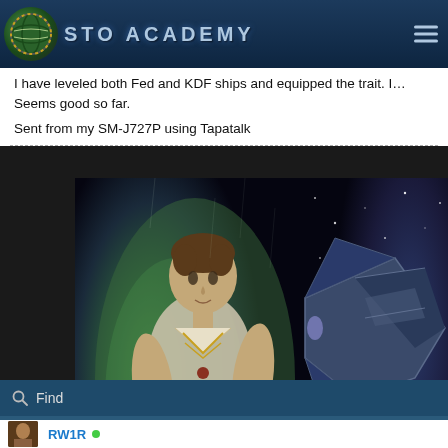STO ACADEMY
I have leveled both Fed and KDF ships and equipped the trait. Seems good so far.
Sent from my SM-J727P using Tapatalk
[Figure (screenshot): In-game screenshot showing a character named Mehkar Gill standing in front of a spaceship. Character is wearing a white/gold outfit. Ship name shown as R.R.W. KA'FRAH. Watermark reads armada.sto...]
Find
RW1R